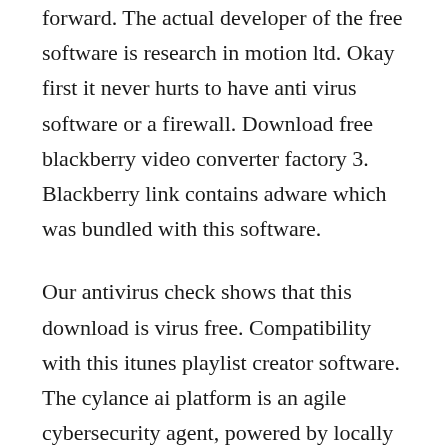forward. The actual developer of the free software is research in motion ltd. Okay first it never hurts to have anti virus software or a firewall. Download free blackberry video converter factory 3. Blackberry link contains adware which was bundled with this software.
Our antivirus check shows that this download is virus free. Compatibility with this itunes playlist creator software. The cylance ai platform is an agile cybersecurity agent, powered by locally deployed artificial intelligence. Compatibility may vary, but